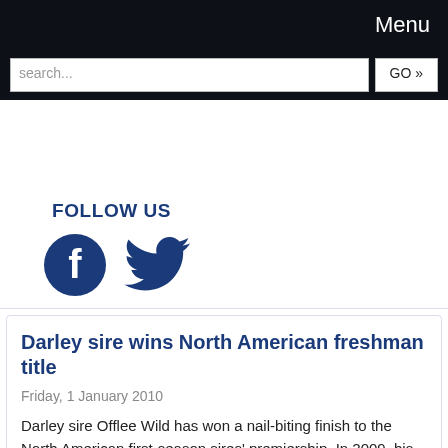Menu
search... GO »
FOLLOW US
[Figure (illustration): Facebook and Twitter social media icons in dark blue]
Darley sire wins North American freshman title
Friday, 1 January 2010
Darley sire Offlee Wild has won a nail-biting finish to the North American first-season sires' premiership.  In 2009, his progeny earned US$1,851,232 to finish 2009 in front of Dynever, Belong...